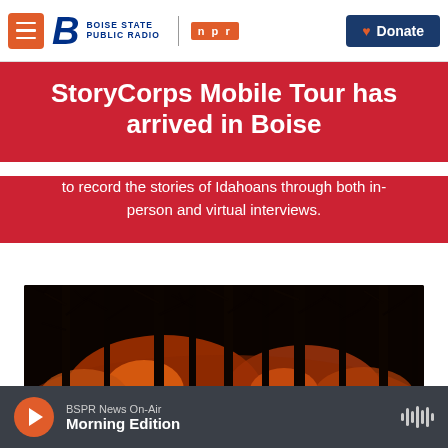Boise State Public Radio | NPR | Donate
StoryCorps Mobile Tour has arrived in Boise
to record the stories of Idahoans through both in-person and virtual interviews.
[Figure (photo): Dark nighttime forest fire photo showing tree silhouettes against glowing orange flames]
BSPR News On-Air — Morning Edition